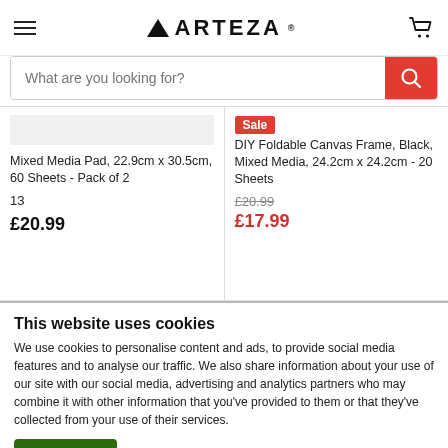[Figure (logo): Arteza logo with triangle icon and hamburger menu and cart icon in header]
What are you looking for?
Mixed Media Pad, 22.9cm x 30.5cm, 60 Sheets - Pack of 2
13
£20.99
Sale
DIY Foldable Canvas Frame, Black, Mixed Media, 24.2cm x 24.2cm - 20 Sheets
£20.99
£17.99
This website uses cookies
We use cookies to personalise content and ads, to provide social media features and to analyse our traffic. We also share information about your use of our site with our social media, advertising and analytics partners who may combine it with other information that you've provided to them or that they've collected from your use of their services.
OK
Show details